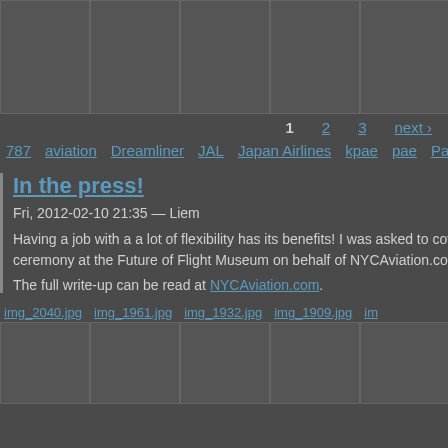[Figure (photo): Row of 5 photo thumbnails with gray placeholder boxes and borders]
1  2  3  next ›
787  aviation  Dreamliner  JAL  Japan Airlines  kpae  pae  Paine
In the press!
Fri, 2012-02-10 21:35 — Liem
Having a job with a a lot of flexibility has its benefits! I was asked to cover the ceremony at the Future of Flight Museum on behalf of NYCAviation.com. My
The full write-up can be read at NYCAviation.com.
img_2040.jpg  img_1961.jpg  img_1932.jpg  img_1909.jpg  im
[Figure (photo): Row of 5 photo thumbnails with gray placeholder boxes and borders at the bottom]